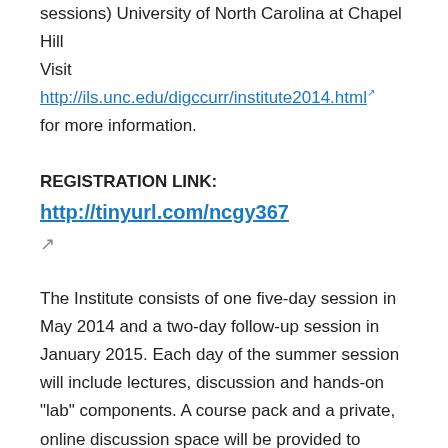sessions) University of North Carolina at Chapel Hill Visit http://ils.unc.edu/digccurr/institute2014.html for more information.
REGISTRATION LINK: http://tinyurl.com/ncgy367
The Institute consists of one five-day session in May 2014 and a two-day follow-up session in January 2015. Each day of the summer session will include lectures, discussion and hands-on "lab" components. A course pack and a private, online discussion space will be provided to supplement learning and application of the material. An opening reception dinner on Sunday. Continental breakfast